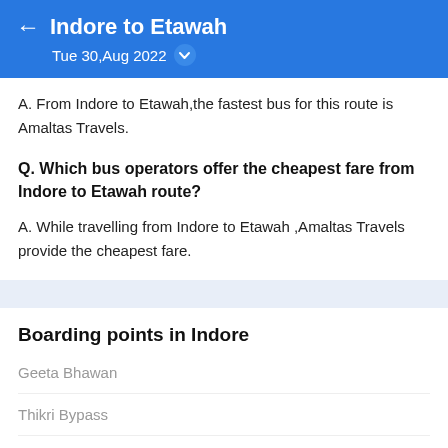Indore to Etawah
Tue 30,Aug 2022
A. From Indore to Etawah,the fastest bus for this route is Amaltas Travels.
Q. Which bus operators offer the cheapest fare from Indore to Etawah route?
A. While travelling from Indore to Etawah ,Amaltas Travels provide the cheapest fare.
Boarding points in Indore
Geeta Bhawan
Thikri Bypass
Radisson Hotel Square